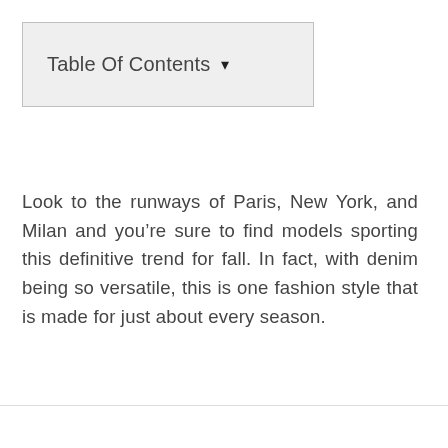Table Of Contents ▾
Look to the runways of Paris, New York, and Milan and you’re sure to find models sporting this definitive trend for fall. In fact, with denim being so versatile, this is one fashion style that is made for just about every season.